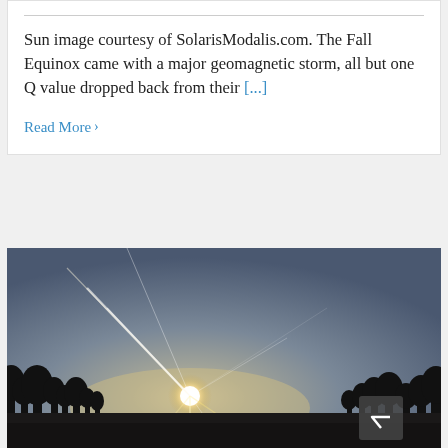Sun image courtesy of SolarisModalis.com. The Fall Equinox came with a major geomagnetic storm, all but one Q value dropped back from their [...]
Read More >
[Figure (photo): Photograph of a sunset or sunrise over a flat landscape. A bright sun sits just above the horizon with strong lens flare rays radiating outward. Silhouetted trees line the horizon against a grey-blue sky. A dark scroll-to-top button with an upward chevron is visible in the lower right corner.]